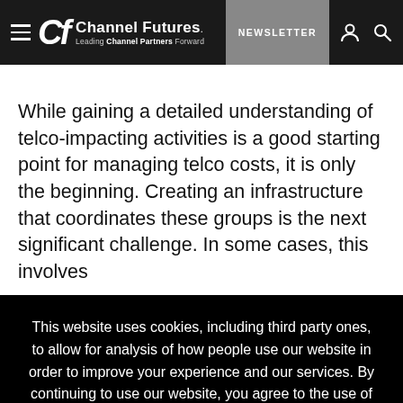Channel Futures — Leading Channel Partners Forward | NEWSLETTER
While gaining a detailed understanding of telco-impacting activities is a good starting point for managing telco costs, it is only the beginning. Creating an infrastructure that coordinates these groups is the next significant challenge. In some cases, this involves
This website uses cookies, including third party ones, to allow for analysis of how people use our website in order to improve your experience and our services. By continuing to use our website, you agree to the use of such cookies. Click here for more information on our Cookie Policy and Privacy Policy.